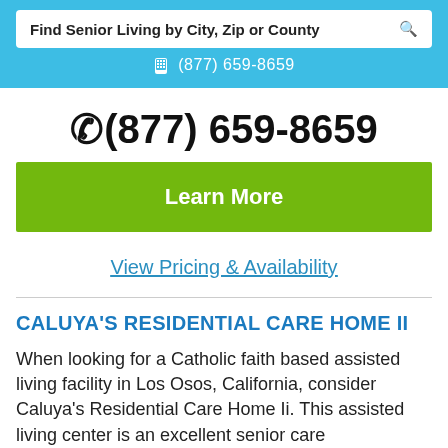Find Senior Living by City, Zip or County
(877) 659-8659
(877) 659-8659
Learn More
View Pricing & Availability
CALUYA'S RESIDENTIAL CARE HOME II
When looking for a Catholic faith based assisted living facility in Los Osos, California, consider Caluya's Residential Care Home Ii. This assisted living center is an excellent senior care